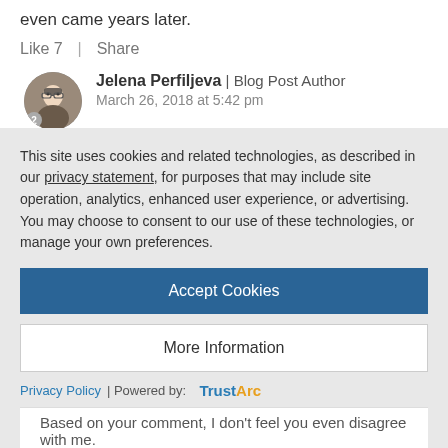even came years later.
Like 7  |  Share
Jelena Perfiljeva | Blog Post Author
March 26, 2018 at 5:42 pm
I don't think anyone sensible has ever suggested TDD is always appropriate. It isn't.
Not sure if "sensible" is the keyword here but indeed very many(if not most) software celebrities claim exactly that TDD is
This site uses cookies and related technologies, as described in our privacy statement, for purposes that may include site operation, analytics, enhanced user experience, or advertising. You may choose to consent to our use of these technologies, or manage your own preferences.
Accept Cookies
More Information
Privacy Policy | Powered by: TrustArc
Based on your comment, I don't feel you even disagree with me.